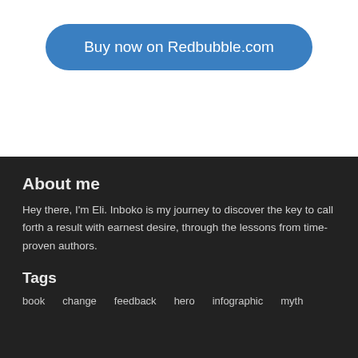[Figure (other): Blue rounded rectangle button with white text reading 'Buy now on Redbubble.com']
About me
Hey there, I'm Eli. Inboko is my journey to discover the key to call forth a result with earnest desire, through the lessons from time-proven authors.
Tags
book
change
feedback
hero
infographic
myth